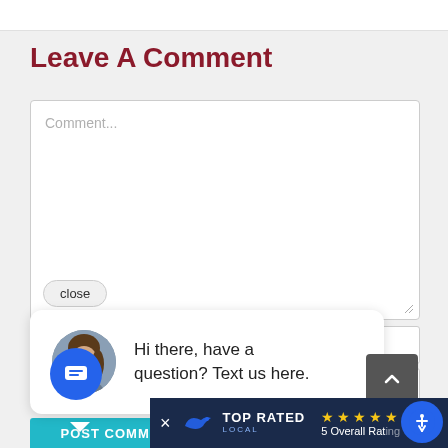Leave A Comment
[Figure (screenshot): Comment text area with placeholder text 'Comment...' and a close button]
[Figure (infographic): Chat popup with avatar photo of a woman and text: Hi there, have a question? Text us here.]
[Figure (screenshot): Chat bubble icon (blue circle with message lines), scroll-to-top button, POST COMMENT button (teal), Top Rated Local banner with stars and 5 Overall Rating text, and accessibility icon]
Hi there, have a question? Text us here.
5 Overall Rating